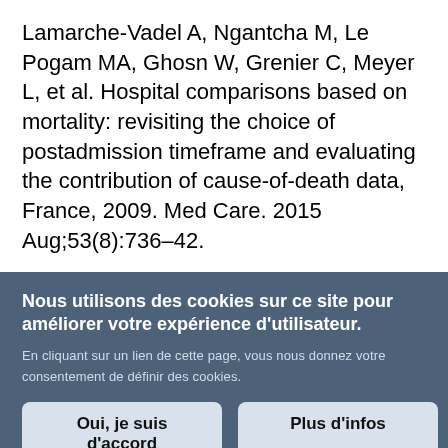Lamarche-Vadel A, Ngantcha M, Le Pogam MA, Ghosn W, Grenier C, Meyer L, et al. Hospital comparisons based on mortality: revisiting the choice of postadmission timeframe and evaluating the contribution of cause-of-death data, France, 2009. Med Care. 2015 Aug;53(8):736–42.
Nous utilisons des cookies sur ce site pour améliorer votre expérience d'utilisateur.
En cliquant sur un lien de cette page, vous nous donnez votre consentement de définir des cookies.
Oui, je suis d'accord | Plus d'infos
2015 Aug;69(8):819–20.